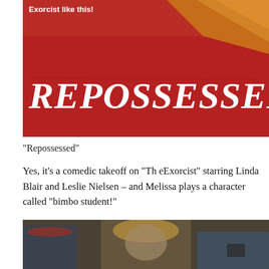[Figure (photo): Movie poster for 'Repossessed' — red background with large distressed white text reading REPOSSESSED, orange/brown book shapes in top right corner, text 'Exorcist like this!' in upper left]
“Repossessed”
Yes, it’s a comedic takeoff on “Th eExorcist” starring Linda Blair and Leslie Nielsen – and Melissa plays a character called “bimbo student!”
[Figure (photo): Film still showing several young people seated, including a blonde woman in the foreground and a person with a red headband to the left]